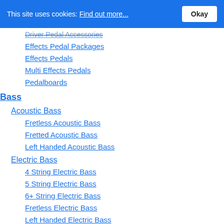This site uses cookies: Find out more... Okay
Driver Pedal Accessories
Effects Pedal Packages
Effects Pedals
Multi Effects Pedals
Pedalboards
Bass
Acoustic Bass
Fretless Acoustic Bass
Fretted Acoustic Bass
Left Handed Acoustic Bass
Electric Bass
4 String Electric Bass
5 String Electric Bass
6+ String Electric Bass
Fretless Electric Bass
Left Handed Electric Bass
Signature Model Electric Bass